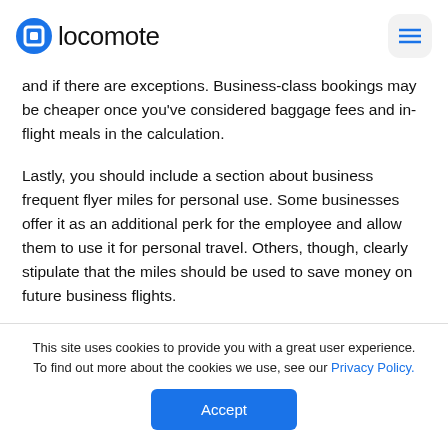locomote
and if there are exceptions. Business-class bookings may be cheaper once you've considered baggage fees and in-flight meals in the calculation.
Lastly, you should include a section about business frequent flyer miles for personal use. Some businesses offer it as an additional perk for the employee and allow them to use it for personal travel. Others, though, clearly stipulate that the miles should be used to save money on future business flights.
This site uses cookies to provide you with a great user experience. To find out more about the cookies we use, see our Privacy Policy.